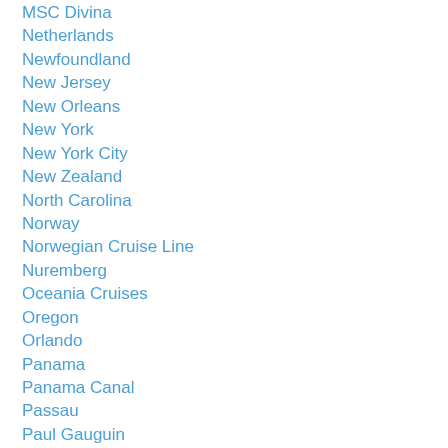MSC Divina
Netherlands
Newfoundland
New Jersey
New Orleans
New York
New York City
New Zealand
North Carolina
Norway
Norwegian Cruise Line
Nuremberg
Oceania Cruises
Oregon
Orlando
Panama
Panama Canal
Passau
Paul Gauguin
Paul Gauguin Cruises
Pennsylvania